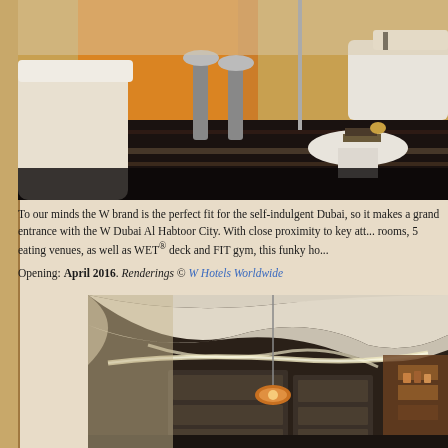[Figure (photo): Interior rendering of a luxury hotel lounge/lobby area with white leather seating, orange/amber accent wall panels, a round white side table with books, bar stools, and polished dark floor with striped pattern.]
To our minds the W brand is the perfect fit for the self-indulgent Dubai, so it makes a grand entrance with the W Dubai Al Habtoor City. With close proximity to key att... rooms, 5 eating venues, as well as WET® deck and FIT gym, this funky ho...
Opening: April 2016. Renderings © W Hotels Worldwide
[Figure (photo): Interior rendering of a luxury hotel room or corridor with curved futuristic ceiling design with ambient lighting, dark upholstered wall panels, pendant light fixture, and warm copper/bronze accents.]